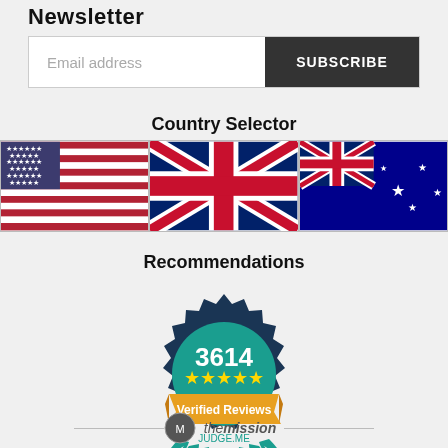Newsletter
[Figure (infographic): Email subscription box with placeholder text 'Email address' and a dark SUBSCRIBE button]
Country Selector
[Figure (infographic): Three country flags: USA, UK, Australia]
Recommendations
[Figure (infographic): Judge.me badge showing 3614 verified reviews with 5 stars and a teal/navy design with laurel wreath]
[Figure (logo): The Mission logo at the bottom with a circular icon and text 'themission']